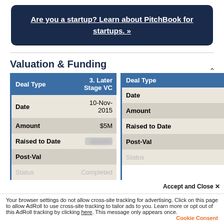[Figure (other): Dark navy blue rounded banner with bold white underlined text: 'Are you a startup? Learn about PitchBook for startups. »']
Valuation & Funding
| Deal Type | 3. Later Stage VC |
| --- | --- |
| Date | 10-Nov-2015 |
| Amount | $5M |
| Raised to Date | [blurred] |
| Post-Val |  |
| Status | Completed |
| Deal Type |  |
| --- | --- |
| Date |  |
| Amount |  |
| Raised to Date |  |
| Post-Val |  |
| Status |  |
Accept and Close ✕
Your browser settings do not allow cross-site tracking for advertising. Click on this page to allow AdRoll to use cross-site tracking to tailor ads to you. Learn more or opt out of this AdRoll tracking by clicking here. This message only appears once.
Cookie Consent